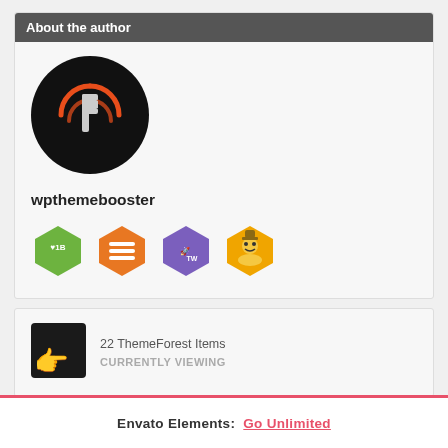About the author
[Figure (logo): Circular dark logo with orange/red power icon and letter P for wpthemebooster]
wpthemebooster
[Figure (illustration): Four hexagonal badges: green badge with 1B and heart, orange badge with stacked lines, purple badge with rocket labeled TW, yellow/gold badge with cowboy face]
[Figure (illustration): ThemeForest thumbnail icon showing a black card with orange hand/pointing finger]
22 ThemeForest Items
CURRENTLY VIEWING
Envato Elements: Go Unlimited